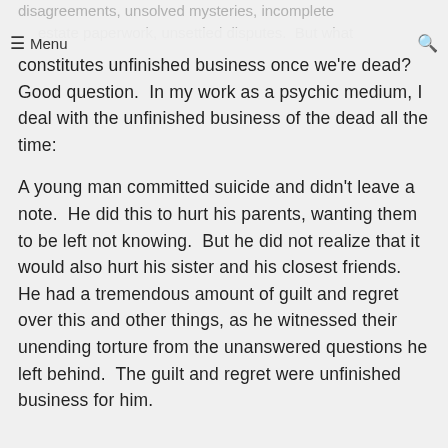disagreements, unsolved mysteries, incomplete estate paperwork, unsettled disputes. But what
≡ Menu  (search icon)
constitutes unfinished business once we're dead? Good question. In my work as a psychic medium, I deal with the unfinished business of the dead all the time:
A young man committed suicide and didn't leave a note. He did this to hurt his parents, wanting them to be left not knowing. But he did not realize that it would also hurt his sister and his closest friends. He had a tremendous amount of guilt and regret over this and other things, as he witnessed their unending torture from the unanswered questions he left behind. The guilt and regret were unfinished business for him.